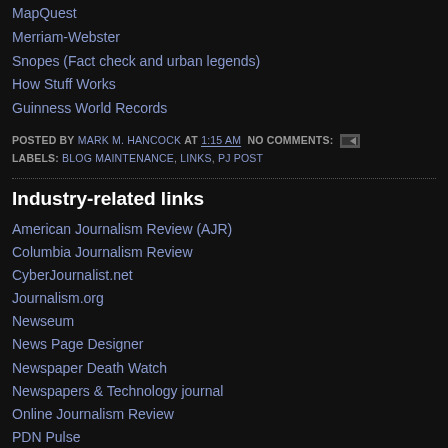MapQuest
Merriam-Webster
Snopes (Fact check and urban legends)
How Stuff Works
Guinness World Records
POSTED BY MARK M. HANCOCK AT 1:15 AM  NO COMMENTS:  [icon]
LABELS: BLOG MAINTENANCE, LINKS, PJ POST
Industry-related links
American Journalism Review (AJR)
Columbia Journalism Review
CyberJournalist.net
Journalism.org
Newseum
News Page Designer
Newspaper Death Watch
Newspapers & Technology journal
Online Journalism Review
PDN Pulse